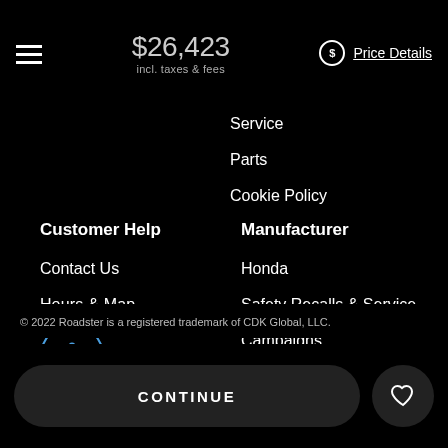$26,423 incl. taxes & fees — Price Details
Service
Parts
Cookie Policy
Customer Help
Contact Us
Hours & Map
Privacy
Sitemap
Manufacturer
Honda
Safety Recalls & Service
Campaigns
© 2022 Roadster is a registered trademark of CDK Global, LLC.
CONTINUE